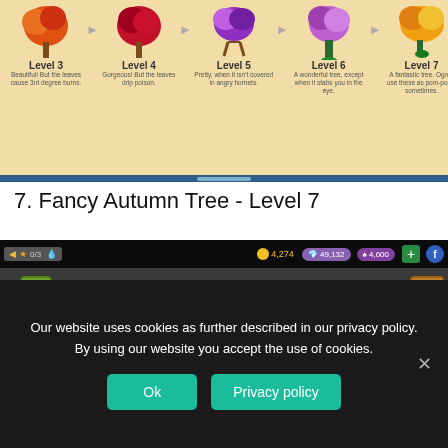[Figure (screenshot): Game UI screenshot showing a horizontal scrollable row of tree levels (Level 3 through Level 7) with colorful tree illustrations, labels, and brief descriptions. Each level is separated by arrow icons. Below is a dark scrollbar.]
7. Fancy Autumn Tree - Level 7
[Figure (screenshot): Game screenshot showing a dark fantasy game map with grayscale terrain, clouds in teal/cyan, skulls, star ratings on the left side, game HUD at the top showing 0/3, 4,274 coins, and other counters. Bottom shows 'Nothing Selected' bar.]
Our website uses cookies as further described in our privacy policy. By using our website you accept the use of cookies.